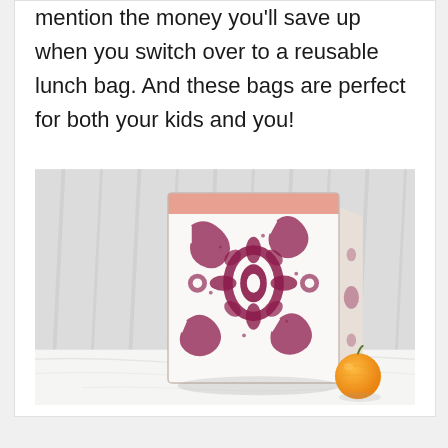mention the money you'll save up when you switch over to a reusable lunch bag. And these bags are perfect for both your kids and you!
[Figure (photo): A decorative reusable lunch bag with white fabric and pink/burgundy floral damask pattern, with a salmon-colored top trim, standing upright on a white marble surface next to an orange, against a white curtain background.]